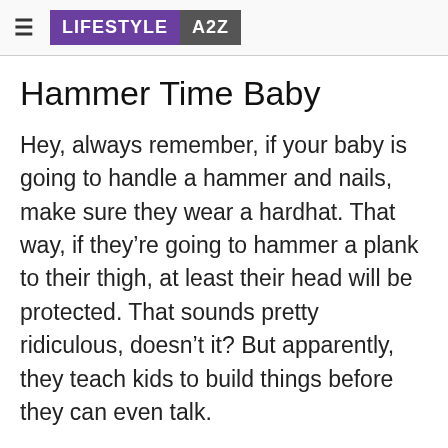≡ LIFESTYLE A2Z
Hammer Time Baby
Hey, always remember, if your baby is going to handle a hammer and nails, make sure they wear a hardhat. That way, if they're going to hammer a plank to their thigh, at least their head will be protected. That sounds pretty ridiculous, doesn't it? But apparently, they teach kids to build things before they can even talk.